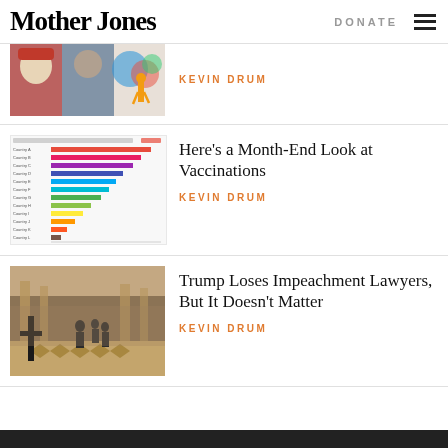MotherJones | DONATE
[Figure (photo): Partial article thumbnail: collage of colorful images including a figure in red hat, people walking]
KEVIN DRUM
[Figure (bar-chart): Horizontal bar chart showing vaccination data by country]
Here's a Month-End Look at Vaccinations
KEVIN DRUM
[Figure (photo): Interior of a grand hall with people and a cross in foreground]
Trump Loses Impeachment Lawyers, But It Doesn't Matter
KEVIN DRUM